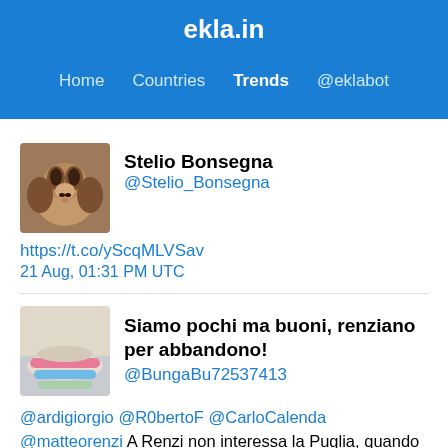ekla.in
Home  Countries  Trends  @eklabot
[Figure (photo): Avatar photo of a dog (beagle type)]
Stelio Bonsegna
@Stelio_Bonsegna
https://t.co/yScqMLVSav
21 Aug, 01:31 PM UTC
[Figure (photo): Avatar photo showing a wrist with colorful bracelets]
Siamo pochi ma buoni, renziano per abbandono!
@BungaBu72537413
@ardigiorgio @R0bertoF @CarloCalenda @matteorenzi A Renzi non interessa la Puglia, quando ci furono le regionali poteva pretendere un altro candidato al posto di Emiliano mettendo sul piatto il suo appoggio al governo, candido